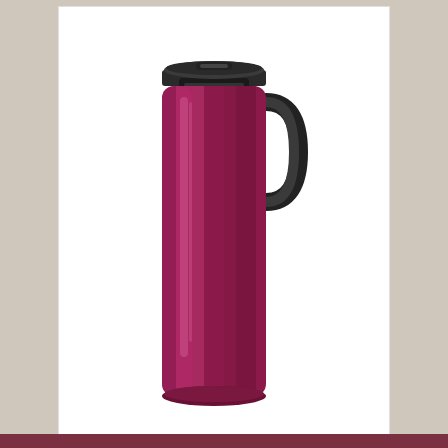[Figure (photo): A berry/purple colored Contigo Randolph 16oz travel mug with a black lid and black handle, shown on a white background.]
CONTIGO RANDOLPH 16OZ BERRY
2 400 руб.
(нет на складе)
Сравнить